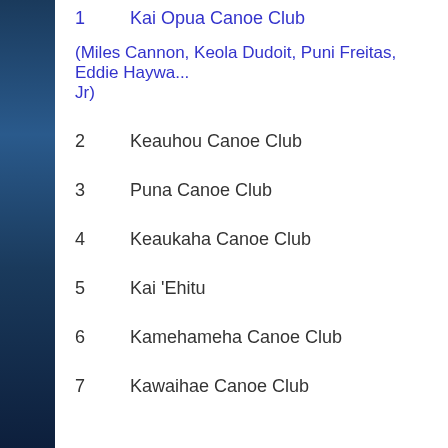1   Kai Opua Canoe Club
(Miles Cannon, Keola Dudoit, Puni Freitas, Eddie Haywa... Jr)
2   Keauhou Canoe Club
3   Puna Canoe Club
4   Keaukaha Canoe Club
5   Kai 'Ehitu
6   Kamehameha Canoe Club
7   Kawaihae Canoe Club